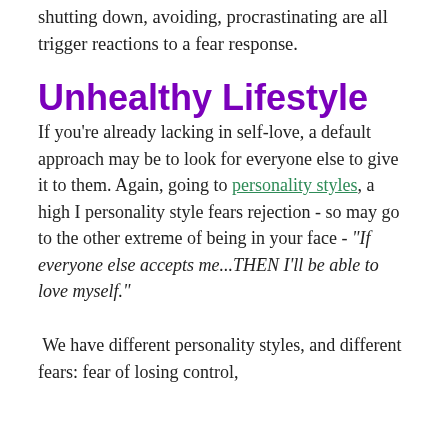shutting down, avoiding, procrastinating are all trigger reactions to a fear response.
Unhealthy Lifestyle
If you're already lacking in self-love, a default approach may be to look for everyone else to give it to them. Again, going to personality styles, a high I personality style fears rejection - so may go to the other extreme of being in your face - "If everyone else accepts me...THEN I'll be able to love myself."
We have different personality styles, and different fears: fear of losing control,